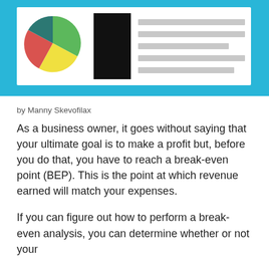[Figure (infographic): Hero banner image showing a business analytics dashboard illustration on a cyan/blue background. Contains a white document card with a multicolor pie chart (green, yellow, red, dark slices) on the left, a black vertical bar in the center, and horizontal gray lines on the right representing data rows.]
by Manny Skevofilax
As a business owner, it goes without saying that your ultimate goal is to make a profit but, before you do that, you have to reach a break-even point (BEP). This is the point at which revenue earned will match your expenses.
If you can figure out how to perform a break-even analysis, you can determine whether or not your